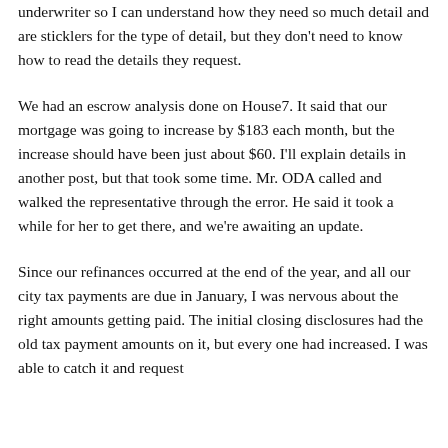underwriter so I can understand how they need so much detail and are sticklers for the type of detail, but they don't need to know how to read the details they request.
We had an escrow analysis done on House7. It said that our mortgage was going to increase by $183 each month, but the increase should have been just about $60. I'll explain details in another post, but that took some time. Mr. ODA called and walked the representative through the error. He said it took a while for her to get there, and we're awaiting an update.
Since our refinances occurred at the end of the year, and all our city tax payments are due in January, I was nervous about the right amounts getting paid. The initial closing disclosures had the old tax payment amounts on it, but every one had increased. I was able to catch it and request